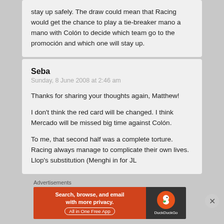stay up safely. The draw could mean that Racing would get the chance to play a tie-breaker mano a mano with Colón to decide which team go to the promoción and which one will stay up.
Seba
Sunday, 8 June 2008 at 2:46 am
Thanks for sharing your thoughts again, Matthew!

I don't think the red card will be changed. I think Mercado will be missed big time against Colón.

To me, that second half was a complete torture. Racing always manage to complicate their own lives. Llop's substitution (Menghi in for JL
Advertisements
[Figure (other): DuckDuckGo advertisement banner with orange background on left reading 'Search, browse, and email with more privacy. All in One Free App' and dark right panel with DuckDuckGo duck logo and brand name.]